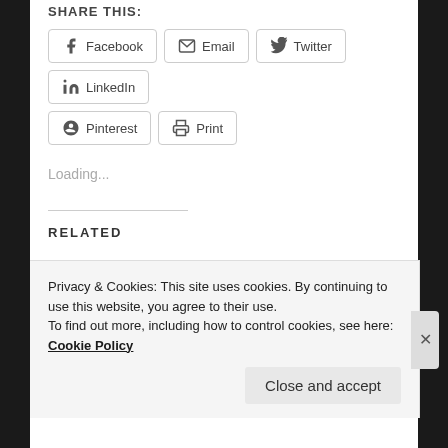SHARE THIS:
[Figure (screenshot): Share buttons row: Facebook, Email, Twitter, LinkedIn]
[Figure (screenshot): Share buttons row: Pinterest, Print]
Loading...
RELATED
He Says “Come All”
February 16, 2013
In "Christian Prose and Prose"
The Answer to Mama’s Question About Suffering
November 18, 2014
Privacy & Cookies: This site uses cookies. By continuing to use this website, you agree to their use.
To find out more, including how to control cookies, see here: Cookie Policy